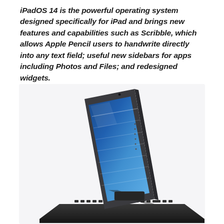iPadOS 14 is the powerful operating system designed specifically for iPad and brings new features and capabilities such as Scribble, which allows Apple Pencil users to handwrite directly into any text field; useful new sidebars for apps including Photos and Files; and redesigned widgets.
[Figure (photo): iPad Air with Magic Keyboard case, showing the iPad tilted back at an angle on the keyboard base, with a colorful blue-tinted screen visible. The keyboard is dark/black and the iPad has a silver/blue finish.]